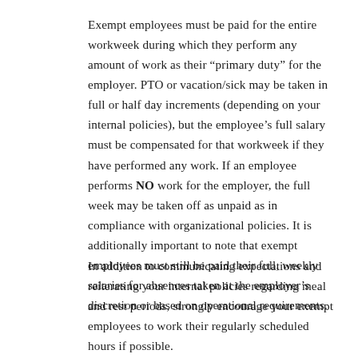Exempt employees must be paid for the entire workweek during which they perform any amount of work as their “primary duty” for the employer. PTO or vacation/sick may be taken in full or half day increments (depending on your internal policies), but the employee’s full salary must be compensated for that workweek if they have performed any work. If an employee performs NO work for the employer, the full week may be taken off as unpaid as in compliance with organizational policies. It is additionally important to note that exempt employees must still be paid their full, weekly salaries for absences taken at the employer’s discretion or based on operational requirements.
In addition to communicating expectations and reiterating your internal policies regarding meal and rest periods, strongly encourage your exempt employees to work their regularly scheduled hours if possible.